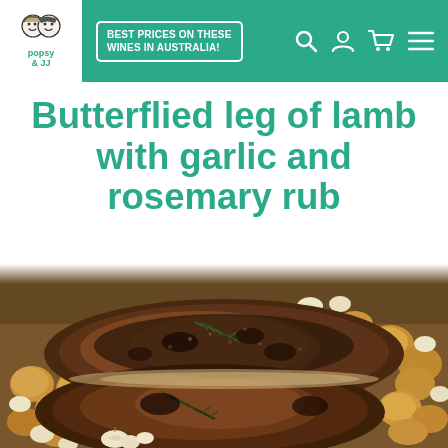BEST PRICES ON THESE WINES IN AUSTRALIA!
Butterflied leg of lamb with garlic and rosemary rub
[Figure (photo): A butterflied leg of lamb coated in a dark garlic and rosemary rub, roasted in a baking tray with whole garlic cloves and small potatoes.]